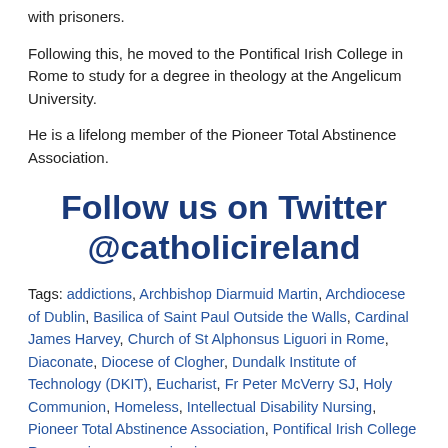with prisoners.
Following this, he moved to the Pontifical Irish College in Rome to study for a degree in theology at the Angelicum University.
He is a lifelong member of the Pioneer Total Abstinence Association.
Follow us on Twitter @catholicireland
Tags: addictions, Archbishop Diarmuid Martin, Archdiocese of Dublin, Basilica of Saint Paul Outside the Walls, Cardinal James Harvey, Church of St Alphonsus Liguori in Rome, Diaconate, Diocese of Clogher, Dundalk Institute of Technology (DKIT), Eucharist, Fr Peter McVerry SJ, Holy Communion, Homeless, Intellectual Disability Nursing, Pioneer Total Abstinence Association, Pontifical Irish College Rome, prisoners, seminarian